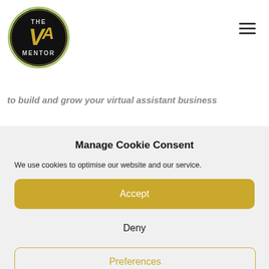[Figure (logo): The VA Mentor circular logo — black background with green/gold border, 'THE VA MENTOR' text and stylized 'VA' lettering in gold]
[Figure (other): Hamburger menu icon — three horizontal black lines]
to build and grow your virtual assistant business
Manage Cookie Consent
We use cookies to optimise our website and our service.
Accept
Deny
Preferences